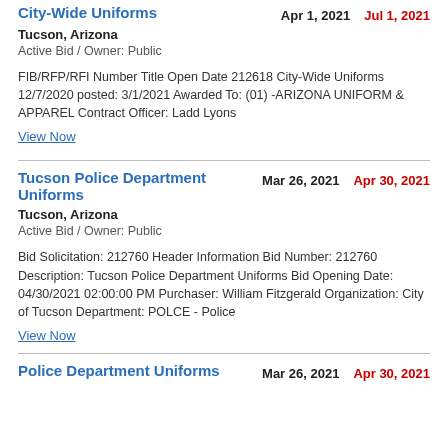City-Wide Uniforms
Apr 1, 2021   Jul 1, 2021
Tucson, Arizona
Active Bid / Owner: Public
FIB/RFP/RFI Number Title Open Date 212618 City-Wide Uniforms 12/7/2020 posted: 3/1/2021 Awarded To: (01) -ARIZONA UNIFORM & APPAREL Contract Officer: Ladd Lyons
View Now
Tucson Police Department Uniforms
Mar 26, 2021   Apr 30, 2021
Tucson, Arizona
Active Bid / Owner: Public
Bid Solicitation: 212760 Header Information Bid Number: 212760 Description: Tucson Police Department Uniforms Bid Opening Date: 04/30/2021 02:00:00 PM Purchaser: William Fitzgerald Organization: City of Tucson Department: POLCE - Police
View Now
Police Department Uniforms
Mar 26, 2021   Apr 30, 2021